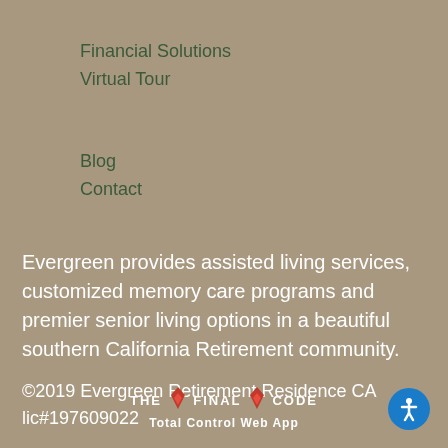Financial Solutions
Virtual Tour
Blog
Contact
Evergreen provides assisted living services, customized memory care programs and premier senior living options in a beautiful southern California Retirement community.
©2019 Evergreen Retirement Residence CA lic#197609022
[Figure (logo): The Final Code - Total Control Web App logo with flame/diamond icons]
[Figure (illustration): Blue circular accessibility icon with person symbol]